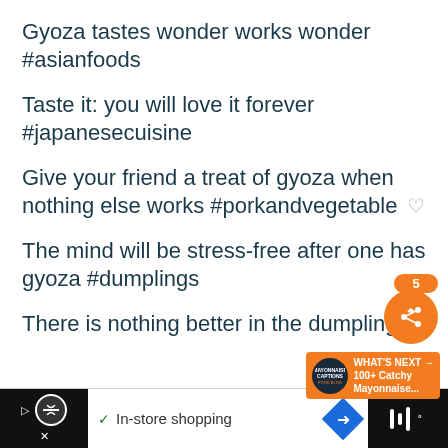Gyoza tastes wonder works wonder #asianfoods
Taste it: you will love it forever #japanesecuisine
Give your friend a treat of gyoza when nothing else works #porkandvegetable
The mind will be stress-free after one has gyoza #dumplings
There is nothing better in the dumplings
[Figure (screenshot): UI overlay with share button (orange circle with share icon), a badge showing '5', and a 'What's Next' promo box showing '100+ Catchy Mayonnaise...' text on orange background]
[Figure (screenshot): Bottom ad bar with black left section containing a circular logo and arrow/X buttons, white middle section with checkmark and 'In-store shopping' text and blue diamond icon, and black right section with audio waveform icon]